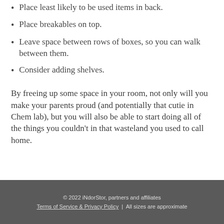Place least likely to be used items in back.
Place breakables on top.
Leave space between rows of boxes, so you can walk between them.
Consider adding shelves.
By freeing up some space in your room, not only will you make your parents proud (and potentially that cutie in Chem lab), but you will also be able to start doing all of the things you couldn't in that wasteland you used to call home.
© 2022 iNdorStor, partners and affiliates | Terms of Service & Privacy Policy | All sizes are approximate